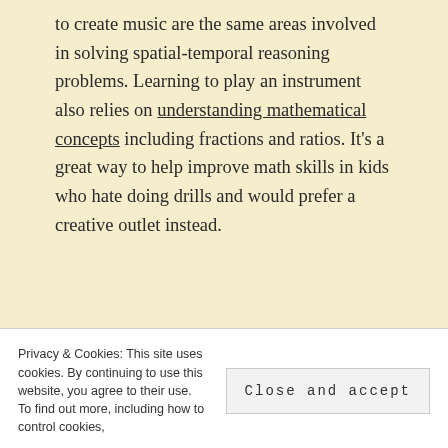to create music are the same areas involved in solving spatial-temporal reasoning problems. Learning to play an instrument also relies on understanding mathematical concepts including fractions and ratios. It's a great way to help improve math skills in kids who hate doing drills and would prefer a creative outlet instead.
• • •
Hobbies expand your child's world beyond what they learn in school. If your kids are struggling with STEM subjects, introducing hobbies that encourage scientific skills can provide the encouragement they need to succeed. You can enjoy activities like science experiments, backyard astrology,
Privacy & Cookies: This site uses cookies. By continuing to use this website, you agree to their use. To find out more, including how to control cookies,
Close and accept